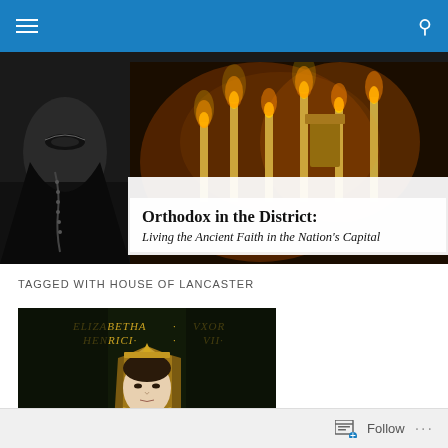Navigation bar with menu and search icons
[Figure (photo): Blog banner image with dark face on left, candles on right, and overlay text box reading 'Orthodox in the District: Living the Ancient Faith in the Nation's Capital']
Orthodox in the District:
Living the Ancient Faith in the Nation's Capital
TAGGED WITH HOUSE OF LANCASTER
[Figure (photo): Historic portrait painting labeled ELIZABETHA VXOR HENRICI VII showing a woman in medieval dress with a pointed headdress]
Follow ...